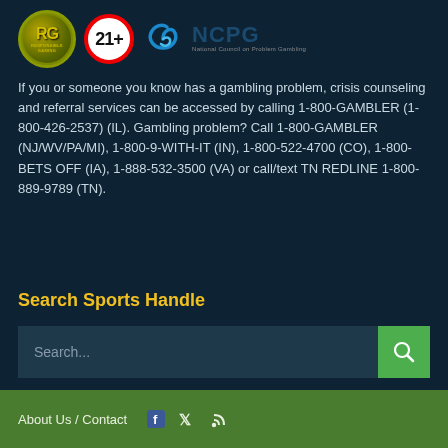[Figure (logo): Row of responsible gambling logos: RG shield, 21+ circle sign, NCPG spiral icon, and NCPG text (National Council on Problem Gambling)]
If you or someone you know has a gambling problem, crisis counseling and referral services can be accessed by calling 1-800-GAMBLER (1-800-426-2537) (IL). Gambling problem? Call 1-800-GAMBLER (NJ/WV/PA/MI), 1-800-9-WITH-IT (IN), 1-800-522-4700 (CO), 1-800-BETS OFF (IA), 1-888-532-3500 (VA) or call/text TN REDLINE 1-800-889-9789 (TN).
Search Sports Handle
Search...
About Us / Contact